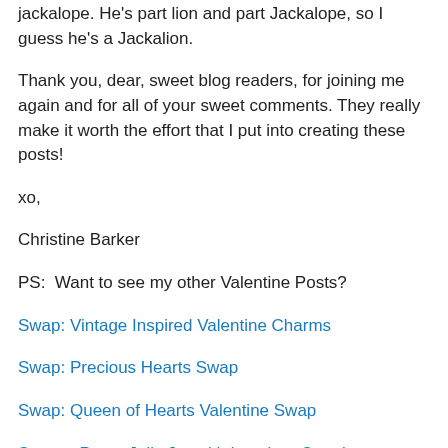jackalope. He's part lion and part Jackalope, so I guess he's a Jackalion.
Thank you, dear, sweet blog readers, for joining me again and for all of your sweet comments. They really make it worth the effort that I put into creating these posts!
xo,
Christine Barker
PS:  Want to see my other Valentine Posts?
Swap: Vintage Inspired Valentine Charms
Swap: Precious Hearts Swap
Swap: Queen of Hearts Valentine Swap
Sweet:  Pretty Jelly Jar with Lovebug Creations Ribbon